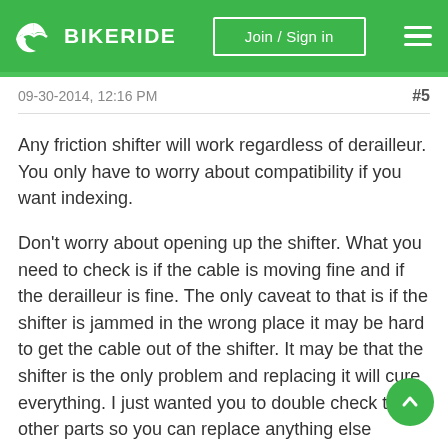BIKERIDE — Join / Sign in
09-30-2014, 12:16 PM
#5
Any friction shifter will work regardless of derailleur. You only have to worry about compatibility if you want indexing.
Don't worry about opening up the shifter. What you need to check is if the cable is moving fine and if the derailleur is fine. The only caveat to that is if the shifter is jammed in the wrong place it may be hard to get the cable out of the shifter. It may be that the shifter is the only problem and replacing it will cure everything. I just wanted you to double check the other parts so you can replace anything else needed at the same time. A new cable might not be a bad idea anyway and they should only cost a dollar or two. A bit more if you get the outer...